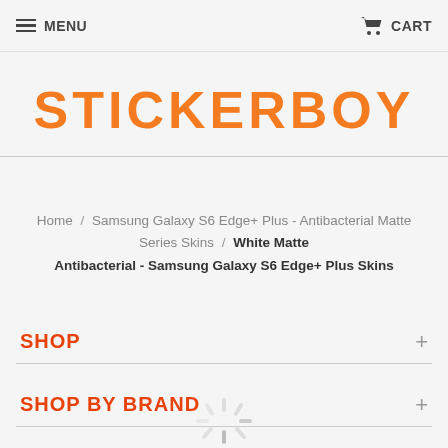MENU  CART
STICKERBOY
Home / Samsung Galaxy S6 Edge+ Plus - Antibacterial Matte Series Skins / White Matte Antibacterial - Samsung Galaxy S6 Edge+ Plus Skins
SHOP +
SHOP BY BRAND +
[Figure (other): Loading spinner icon]